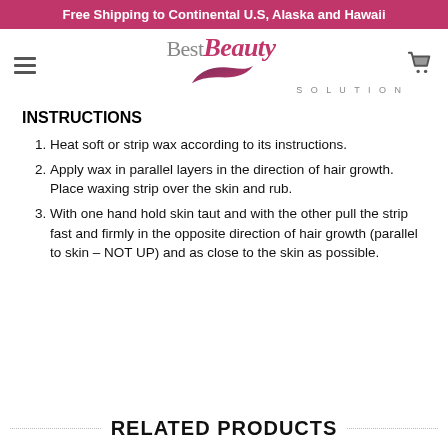Free Shipping to Continental U.S, Alaska and Hawaii
[Figure (logo): Best Beauty Solution logo with pink cursive Beauty text and swish graphic]
INSTRUCTIONS
Heat soft or strip wax according to its instructions.
Apply wax in parallel layers in the direction of hair growth. Place waxing strip over the skin and rub.
With one hand hold skin taut and with the other pull the strip fast and firmly in the opposite direction of hair growth (parallel to skin – NOT UP) and as close to the skin as possible.
RELATED PRODUCTS